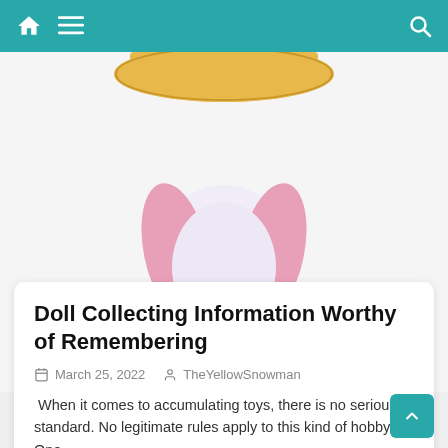Navigation bar with home, menu, and search icons
[Figure (photo): Bottom view of a plush toy/doll showing purple feet and pink legs with a white body section, wearing a yellow hat at the top, photographed from below on a white background]
Doll Collecting Information Worthy of Remembering
March 25, 2022   TheYellowSnowman
When it comes to accumulating toys, there is no serious standard. No legitimate rules apply to this kind of hobby. One